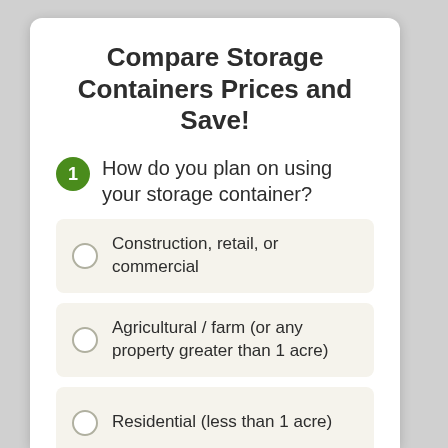Compare Storage Containers Prices and Save!
1 How do you plan on using your storage container?
Construction, retail, or commercial
Agricultural / farm (or any property greater than 1 acre)
Residential (less than 1 acre)
Refrigerated / cold storage